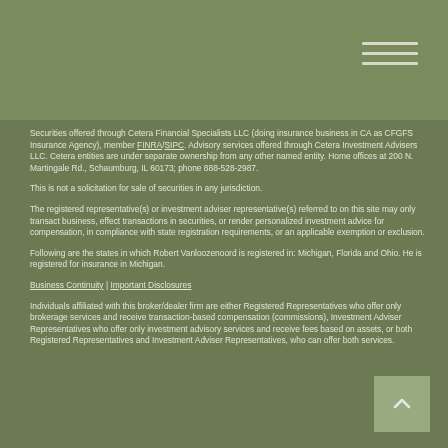Securities offered through Cetera Financial Specialists LLC (doing insurance business in CA as CFGFS Insurance Agency), member FINRA/SIPC. Advisory services offered through Cetera Investment Advisers LLC. Cetera entities are under separate ownership from any other named entity. Home offices at 200 N. Martingale Rd., Schaumburg, IL 60173; phone 888-528-2987.
This is not a solicitation for sale of securities in any jurisdiction.
The registered representative(s) or investment adviser representative(s) referred to on this site may only transact business, effect transactions in securities, or render personalized investment advice for compensation, in compliance with state registration requirements, or an applicable exemption or exclusion.
Following are the states in which Robert Vanloozenoord is registered in: Michigan, Florida and Ohio. He is registered for insurance in Michigan.
Business Continuity | Important Disclosures
Individuals affiliated with this broker/dealer firm are either Registered Representatives who offer only brokerage services and receive transaction-based compensation (commissions), Investment Adviser Representatives who offer only investment advisory services and receive fees based on assets, or both Registered Representatives and Investment Adviser Representatives, who can offer both services.